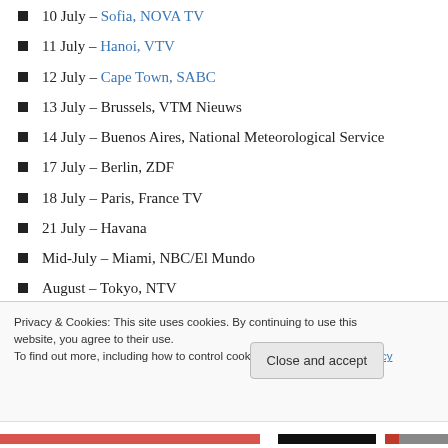10 July – Sofia, NOVA TV
11 July – Hanoi, VTV
12 July – Cape Town, SABC
13 July – Brussels, VTM Nieuws
14 July – Buenos Aires, National Meteorological Service
17 July – Berlin, ZDF
18 July – Paris, France TV
21 July – Havana
Mid-July – Miami, NBC/El Mundo
August – Tokyo, NTV
Privacy & Cookies: This site uses cookies. By continuing to use this website, you agree to their use.
To find out more, including how to control cookies, see here: Cookie Policy